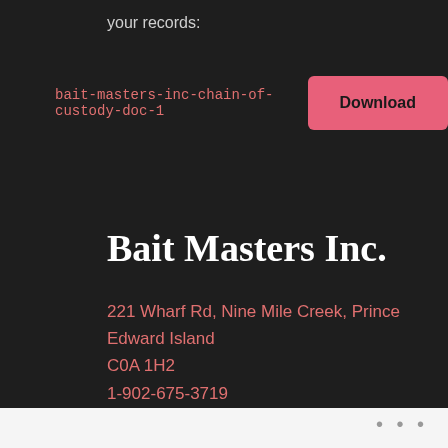your records:
bait-masters-inc-chain-of-custody-doc-1
Download
Bait Masters Inc.
221 Wharf Rd, Nine Mile Creek, Prince Edward Island
C0A 1H2
1-902-675-3719
baitmasterinc@gmail.com
Monday - Saturday:
8 a.m. to 5 p.m.
• • •